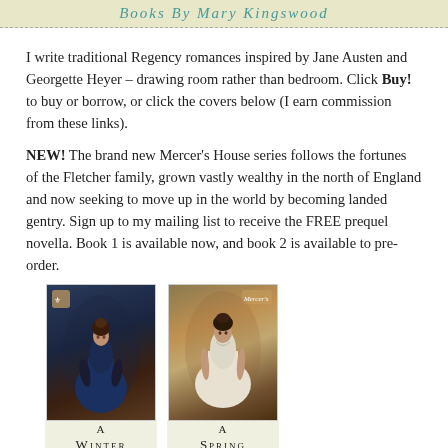Books By Mary Kingswood
I write traditional Regency romances inspired by Jane Austen and Georgette Heyer – drawing room rather than bedroom. Click Buy! to buy or borrow, or click the covers below (I earn commission from these links).
NEW! The brand new Mercer's House series follows the fortunes of the Fletcher family, grown vastly wealthy in the north of England and now seeking to move up in the world by becoming landed gentry. Sign up to my mailing list to receive the FREE prequel novella. Book 1 is available now, and book 2 is available to pre-order.
[Figure (photo): Book cover for 'A Winter Chase' by Mary Kingswood – Regency romance showing a woman in a dark blue dress]
[Figure (photo): Book cover for 'A Spring Dance' by Mary Kingswood – Regency romance showing a woman in a white dress]